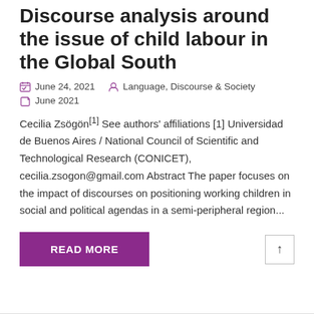Discourse analysis around the issue of child labour in the Global South
June 24, 2021   Language, Discourse & Society   June 2021
Cecilia Zsögön[1] See authors' affiliations [1] Universidad de Buenos Aires / National Council of Scientific and Technological Research (CONICET), cecilia.zsogon@gmail.com Abstract The paper focuses on the impact of discourses on positioning working children in social and political agendas in a semi-peripheral region...
READ MORE